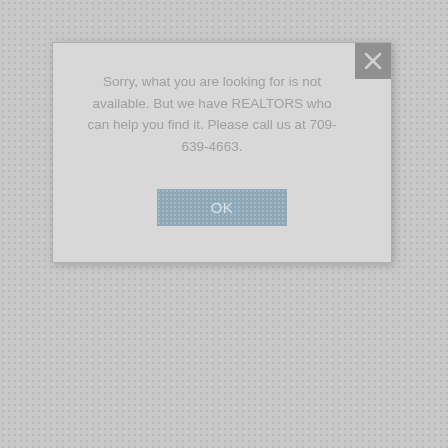[Figure (screenshot): A modal dialog box on a grey dotted background. The dialog contains a message and an OK button, with an X close button in the top-right corner.]
Sorry, what you are looking for is not available. But we have REALTORS who can help you find it. Please call us at 709-639-4663.